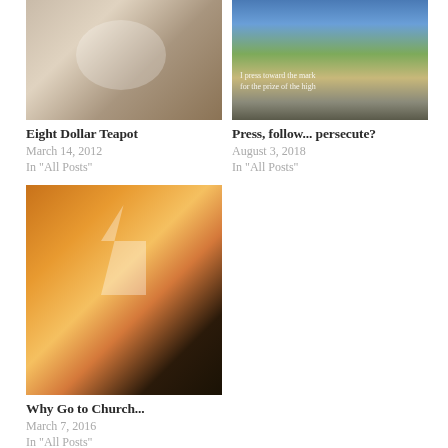[Figure (photo): A teapot with a heart design on it, warm beige tones]
Eight Dollar Teapot
March 14, 2012
In "All Posts"
[Figure (photo): A road stretching toward mountains with text overlay: I press toward the mark for the prize of the high]
Press, follow... persecute?
August 3, 2018
In "All Posts"
[Figure (photo): A white church steeple amid glowing orange and golden foggy autumnal light]
Why Go to Church...
March 7, 2016
In "All Posts"
[Figure (other): Share/link icon on light gray background]
Posted in challenge